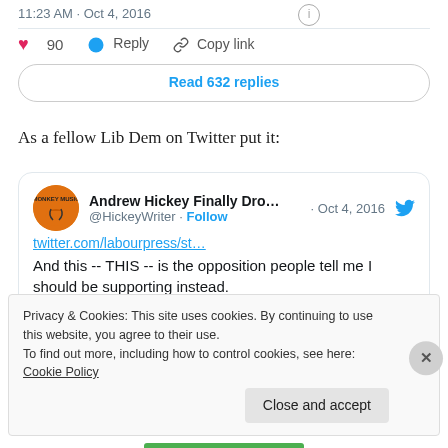11:23 AM · Oct 4, 2016
♥ 90   Reply   Copy link
Read 632 replies
As a fellow Lib Dem on Twitter put it:
[Figure (screenshot): Embedded tweet by Andrew Hickey Finally Dro... @HickeyWriter · Oct 4, 2016. Contains a link twitter.com/labourpress/st... and text: And this -- THIS -- is the opposition people tell me I should be supporting instead.]
Privacy & Cookies: This site uses cookies. By continuing to use this website, you agree to their use.
To find out more, including how to control cookies, see here: Cookie Policy
Close and accept